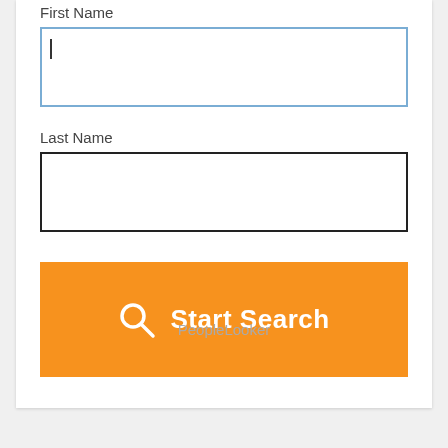First Name
[Figure (screenshot): First Name text input box with blue border and cursor visible]
Last Name
[Figure (screenshot): Last Name text input box with black border, empty]
[Figure (screenshot): Orange Start Search button with magnifying glass icon]
PeopleLooker